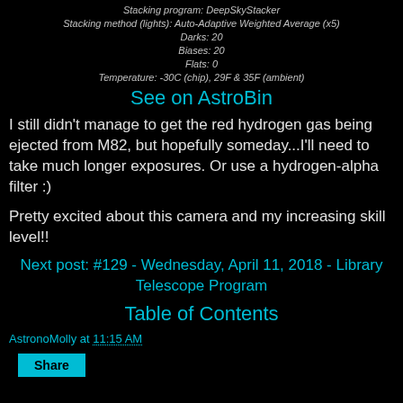Stacking program: DeepSkyStacker
Stacking method (lights): Auto-Adaptive Weighted Average (x5)
Darks: 20
Biases: 20
Flats: 0
Temperature: -30C (chip), 29F & 35F (ambient)
See on AstroBin
I still didn't manage to get the red hydrogen gas being ejected from M82, but hopefully someday...I'll need to take much longer exposures.  Or use a hydrogen-alpha filter :)
Pretty excited about this camera and my increasing skill level!!
Next post: #129 - Wednesday, April 11, 2018 - Library Telescope Program
Table of Contents
AstronoMolly at 11:15 AM
Share